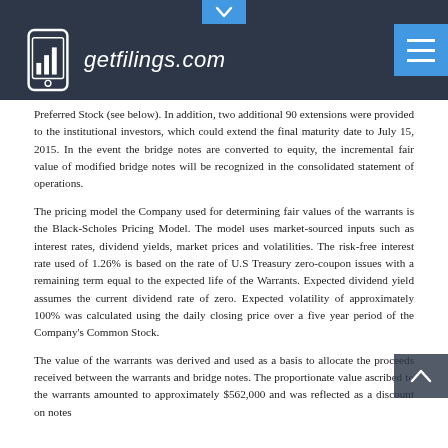getfilings.com
Preferred Stock (see below). In addition, two additional 90 extensions were provided to the institutional investors, which could extend the final maturity date to July 15, 2015. In the event the bridge notes are converted to equity, the incremental fair value of modified bridge notes will be recognized in the consolidated statement of operations.
The pricing model the Company used for determining fair values of the warrants is the Black-Scholes Pricing Model. The model uses market-sourced inputs such as interest rates, dividend yields, market prices and volatilities. The risk-free interest rate used of 1.26% is based on the rate of U.S Treasury zero-coupon issues with a remaining term equal to the expected life of the Warrants. Expected dividend yield assumes the current dividend rate of zero. Expected volatility of approximately 100% was calculated using the daily closing price over a five year period of the Company's Common Stock.
The value of the warrants was derived and used as a basis to allocate the proceeds received between the warrants and bridge notes. The proportionate value ascribed to the warrants amounted to approximately $562,000 and was reflected as a discount on notes